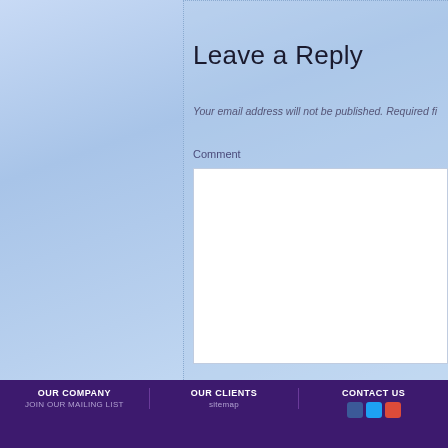Leave a Reply
Your email address will not be published. Required fi
Comment
Name *
Email *
Website
OUR COMPANY | OUR CLIENTS | CONTACT US
JOIN OUR MAILING LIST | sitemap